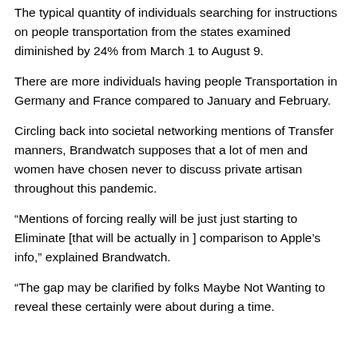The typical quantity of individuals searching for instructions on people transportation from the states examined diminished by 24% from March 1 to August 9.
There are more individuals having people Transportation in Germany and France compared to January and February.
Circling back into societal networking mentions of Transfer manners, Brandwatch supposes that a lot of men and women have chosen never to discuss private artisan throughout this pandemic.
“Mentions of forcing really will be just just starting to Eliminate [that will be actually in ] comparison to Apple’s info,” explained Brandwatch.
“The gap may be clarified by folks Maybe Not Wanting to reveal these certainly were about during a time.